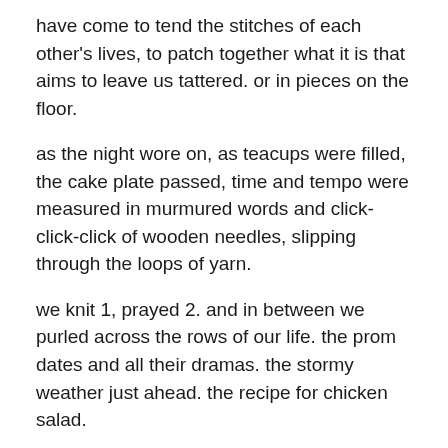have come to tend the stitches of each other's lives, to patch together what it is that aims to leave us tattered. or in pieces on the floor.
as the night wore on, as teacups were filled, the cake plate passed, time and tempo were measured in murmured words and click-click-click of wooden needles, slipping through the loops of yarn.
we knit 1, prayed 2. and in between we purled across the rows of our life. the prom dates and all their dramas. the stormy weather just ahead. the recipe for chicken salad.
then at last, late from a meeting, dressed in pointy-toed heels, flush from rushing up the highway, the one among us arrived, the one for whom the knitting started three short months ago.